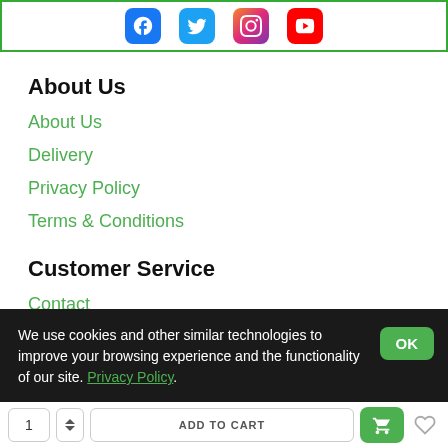[Figure (other): Social media icons for Facebook, Twitter, Instagram, YouTube inside a green-bordered box]
About Us
About Us
Delivery
Privacy Policy
Terms & Conditions
Customer Service
Contact
Returns
We use cookies and other similar technologies to improve your browsing experience and the functionality of our site. Privacy Policy.
1 ADD TO CART